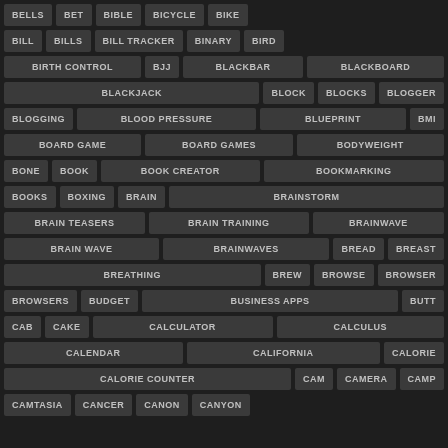BELLS
BET
BIBLE
BICYCLE
BIKE
BILL
BILLS
BILL TRACKER
BINARY
BIRD
BIRTH CONTROL
BJJ
BLACKBAR
BLACKBOARD
BLACKJACK
BLOCK
BLOCKS
BLOGGER
BLOGGING
BLOOD PRESSURE
BLUEPRINT
BMI
BOARD GAME
BOARD GAMES
BODYWEIGHT
BONE
BOOK
BOOK CREATOR
BOOKMARKING
BOOKS
BOXING
BRAIN
BRAINSTORM
BRAIN TEASERS
BRAIN TRAINING
BRAINWAVE
BRAIN WAVE
BRAINWAVES
BREAD
BREAST
BREATHING
BREW
BROWSE
BROWSER
BROWSERS
BUDGET
BUSINESS APPS
BUTT
CAB
CAKE
CALCULATOR
CALCULUS
CALENDAR
CALIFORNIA
CALORIE
CALORIE COUNTER
CAM
CAMERA
CAMP
CAMTASIA
CANCER
CANON
CANYON